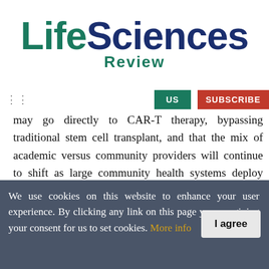[Figure (logo): Life Sciences Review logo — 'Life' in teal, 'Sciences' in dark navy, 'Review' in teal below]
US  SUBSCRIBE
may go directly to CAR-T therapy, bypassing traditional stem cell transplant, and that the mix of academic versus community providers will continue to shift as large community health systems deploy their scale and resources toward offering CAR-T therapy.
It was just in 2017, when CAR-T was approved by the FDA as a cancer immunotherapy treatment. Often
We use cookies on this website to enhance your user experience. By clicking any link on this page you are giving your consent for us to set cookies. More info